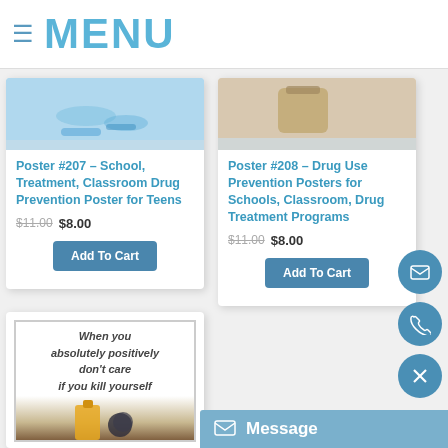≡ MENU
[Figure (photo): Top portion of Poster #207 product image showing blue background with pills]
Poster #207 – School, Treatment, Classroom Drug Prevention Poster for Teens
$11.00 $8.00
Add To Cart
[Figure (photo): Top portion of Poster #208 product image showing brown bottle]
Poster #208 – Drug Use Prevention Posters for Schools, Classroom, Drug Treatment Programs
$11.00 $8.00
Add To Cart
[Figure (photo): Partial product card showing poster with text: When you absolutely positively don't care if you kill yourself]
[Figure (other): Floating action buttons: email envelope icon, phone icon, close X icon, and Message bar at bottom right]